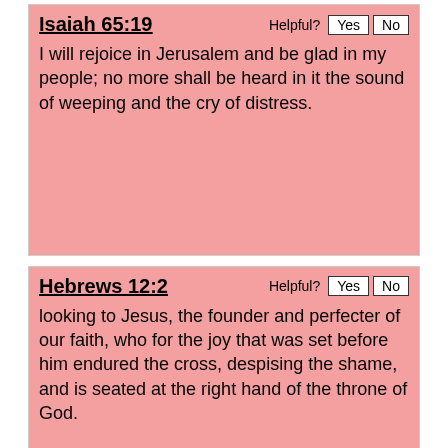Isaiah 65:19
I will rejoice in Jerusalem and be glad in my people; no more shall be heard in it the sound of weeping and the cry of distress.
Hebrews 12:2
looking to Jesus, the founder and perfecter of our faith, who for the joy that was set before him endured the cross, despising the shame, and is seated at the right hand of the throne of God.
Isaiah 63:4